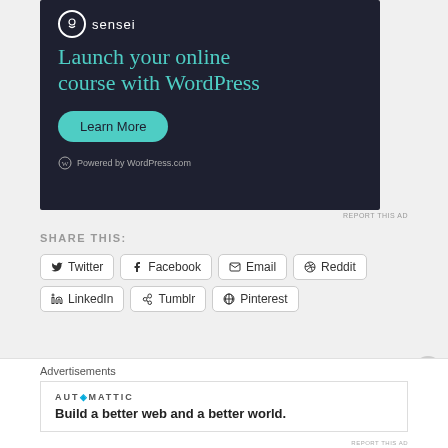[Figure (screenshot): Sensei LMS advertisement banner with dark navy background. Shows Sensei logo at top, teal headline 'Launch your online course with WordPress', a teal 'Learn More' button, and 'Powered by WordPress.com' footer text.]
REPORT THIS AD
SHARE THIS:
Twitter
Facebook
Email
Reddit
LinkedIn
Tumblr
Pinterest
Advertisements
[Figure (screenshot): Automattic advertisement with white background. Shows 'AUTOMATTIC' brand name with teal infinity symbol, and bold text 'Build a better web and a better world.']
REPORT THIS AD